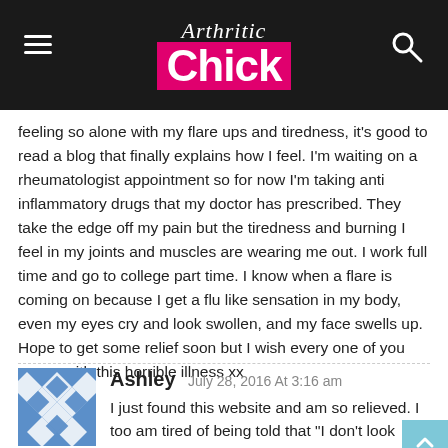Arthritic Chick
feeling so alone with my flare ups and tiredness, it's good to read a blog that finally explains how I feel. I'm waiting on a rheumatologist appointment so for now I'm taking anti inflammatory drugs that my doctor has prescribed. They take the edge off my pain but the tiredness and burning I feel in my joints and muscles are wearing me out. I work full time and go to college part time. I know when a flare is coming on because I get a flu like sensation in my body, even my eyes cry and look swollen, and my face swells up. Hope to get some relief soon but I wish every one of you peace with this horrible illness xx
Reply
Ashley July 28, 2016 At 3:16 am
I just found this website and am so relieved. I too am tired of being told that "I don't look sick". I have been